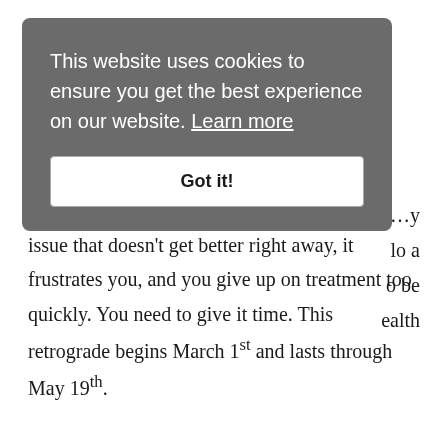[Figure (screenshot): Cookie consent banner overlay with dark grey background. Text reads: 'This website uses cookies to ensure you get the best experience on our website. Learn more' with a 'Got it!' button below.]
...health issue that doesn't get better right away, it frustrates you, and you give up on treatment too quickly. You need to give it time. This retrograde begins March 1st and lasts through May 19th.
Saturn also turns retrograde on March 2nd in water sign Scorpio, the sign opposite yours, and over the next few months, you can have difficulty in your